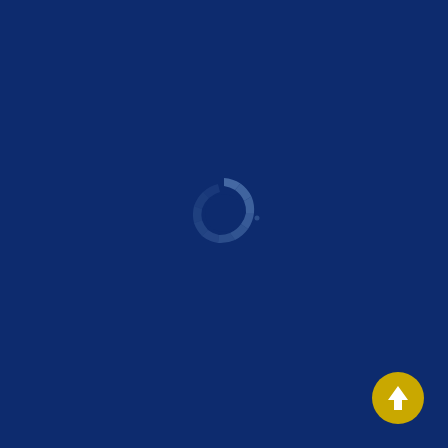[Figure (other): Dark navy blue background page with a circular loading spinner icon in a lighter blue color centered slightly below the vertical midpoint, and a gold/yellow circular button with a white upward arrow in the bottom-right corner.]